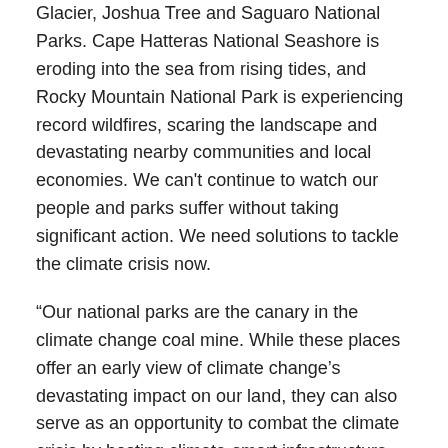Glacier, Joshua Tree and Saguaro National Parks. Cape Hatteras National Seashore is eroding into the sea from rising tides, and Rocky Mountain National Park is experiencing record wildfires, scaring the landscape and devastating nearby communities and local economies. We can't continue to watch our people and parks suffer without taking significant action. We need solutions to tackle the climate crisis now.
“Our national parks are the canary in the climate change coal mine. While these places offer an early view of climate change’s devastating impact on our land, they can also serve as an opportunity to combat the climate crisis by hosting climate-smart infrastructure like Gateway National Recreation Area used to rebuild after Hurricane Sandy, and absorbing harmful air pollution with resilient landscapes in places like Denali and Sequoia National Parks.
“Fortunately, a group of U.S. Representatives are taking on this challenge by utilizing the power our public lands have